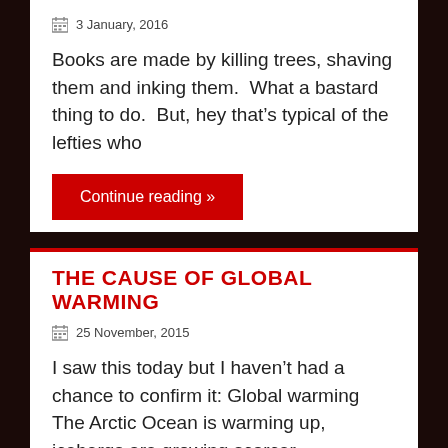3 January, 2016
Books are made by killing trees, shaving them and inking them.  What a bastard thing to do.  But, hey that’s typical of the lefties who
Continue reading »
THE CAUSE OF GLOBAL WARMING
25 November, 2015
I saw this today but I haven’t had a chance to confirm it: Global warming The Arctic Ocean is warming up, icebergs are growing scarcer